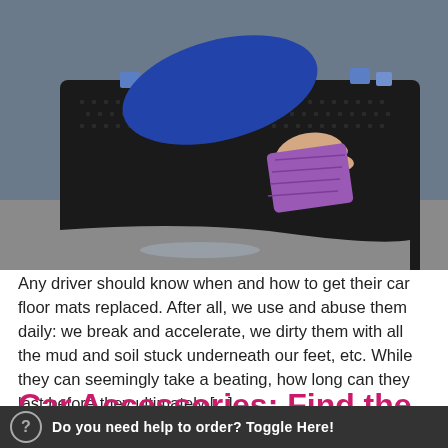[Figure (photo): A person in a blue long-sleeve shirt wiping a black rubber car floor mat with a purple cloth/microfiber towel. The mat is laid on a grey surface.]
Any driver should know when and how to get their car floor mats replaced. After all, we use and abuse them daily: we break and accelerate, we dirty them with all the mud and soil stuck underneath our feet, etc. While they can seemingly take a beating, how long can they last before they ultimately [...]
Car Accessories: Find the
Do you need help to order? Toggle Here!